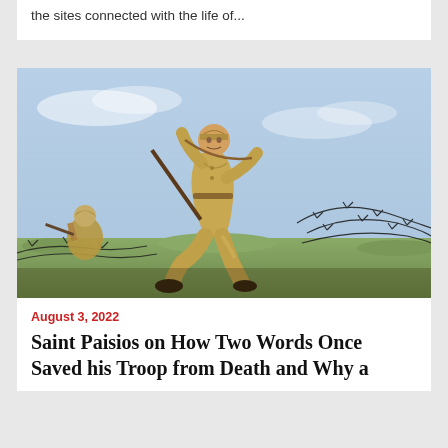the sites connected with the life of...
[Figure (photo): A colorized World War II era photograph of a soldier in tan/khaki uniform and cap, running across a field with a rifle, leaping over barbed wire. A second soldier is visible in the background on the left.]
August 3, 2022
Saint Paisios on How Two Words Once Saved his Troop from Death and Why a